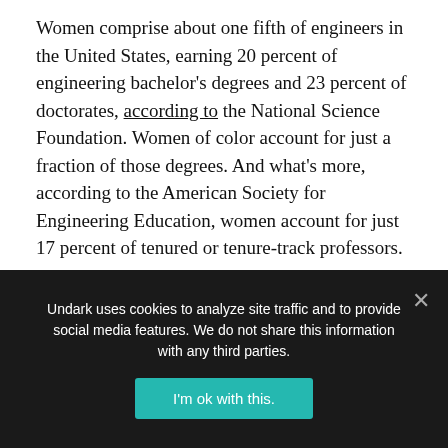Women comprise about one fifth of engineers in the United States, earning 20 percent of engineering bachelor's degrees and 23 percent of doctorates, according to the National Science Foundation. Women of color account for just a fraction of those degrees. And what's more, according to the American Society for Engineering Education, women account for just 17 percent of tenured or tenure-track professors.
The fraction of women drops to 13 percent in industry, according to data from the Bureau of Labor Statistics. Women also…
Undark uses cookies to analyze site traffic and to provide social media features. We do not share this information with any third parties.